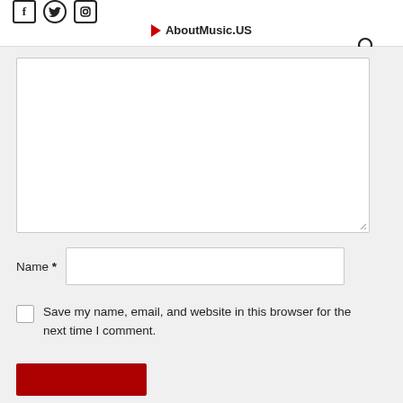f  y  [instagram]  AboutMusic.US  [search]
[Figure (screenshot): Comment form textarea — empty white input box with resize handle at bottom-right]
Name *
Save my name, email, and website in this browser for the next time I comment.
[Figure (screenshot): Red submit button at bottom of comment form]